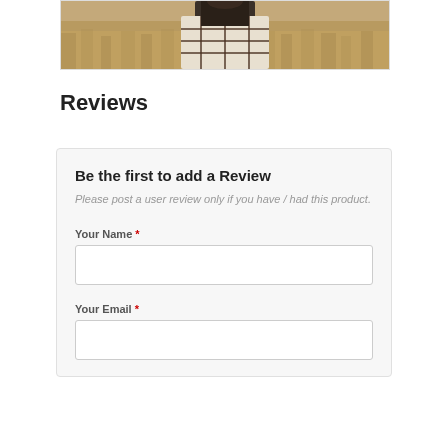[Figure (photo): Person wearing a plaid blanket/wrap standing in a field of tall golden grass, partial view showing torso and wrap]
Reviews
Be the first to add a Review
Please post a user review only if you have / had this product.
Your Name *
Your Email *